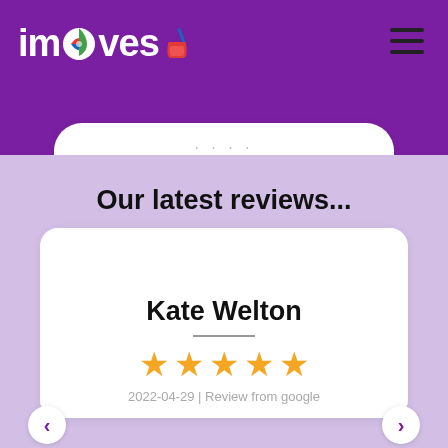imoves
Our latest reviews...
Kate Welton
★★★★★
2022-04-29 | Review from google